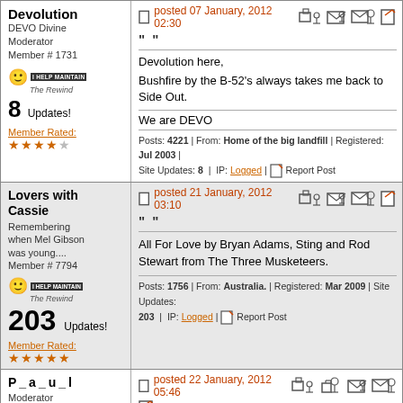Devolution
DEVO Divine Moderator
Member # 1731
posted 07 January, 2012 02:30
Devolution here,
Bushfire by the B-52's always takes me back to Side Out.
We are DEVO
Posts: 4221 | From: Home of the big landfill | Registered: Jul 2003 | Site Updates: 8 | IP: Logged | Report Post
Lovers with Cassie
Remembering when Mel Gibson was young....
Member # 7794
posted 21 January, 2012 03:10
All For Love by Bryan Adams, Sting and Rod Stewart from The Three Musketeers.
Posts: 1756 | From: Australia. | Registered: Mar 2009 | Site Updates: 203 | IP: Logged | Report Post
P_a_u_l
Moderator
Member # 1022
posted 22 January, 2012 05:46
"I Got You Babe" by Sonny and Cher. Every morning at...